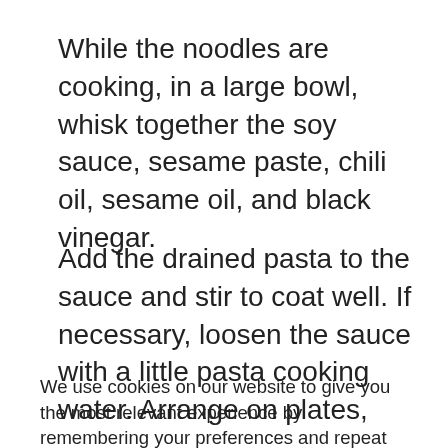While the noodles are cooking, in a large bowl, whisk together the soy sauce, sesame paste, chili oil, sesame oil, and black vinegar.
Add the drained pasta to the sauce and stir to coat well. If necessary, loosen the sauce with a little pasta cooking water. Arrange on plates, sprinkle with spring onions and sesame seeds and serve warm.
We use cookies on our website to give you the most relevant experience by remembering your preferences and repeat visits. By clicking “Accept All”, you consent to the use of ALL the cookies. However, you may visit "Cookie Settings" to provide a controlled consent.